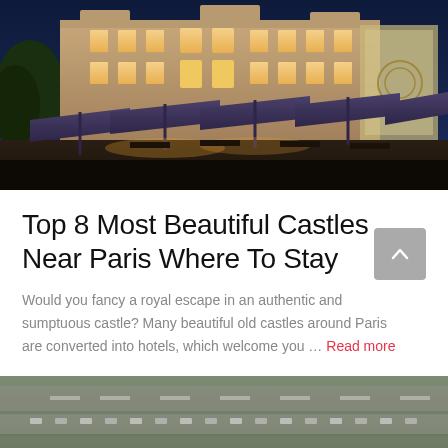[Figure (photo): Night view of an illuminated grand castle/château building with ornate facade, lit windows, and outdoor seating area with large dark umbrella canopies in the foreground]
Top 8 Most Beautiful Castles Near Paris Where To Stay
Would you fancy a royal escape in an authentic and sumptuous castle? Many beautiful old castles around Paris are converted into hotels, which welcome you … Read more
[Figure (photo): Aerial view of what appears to be an airport or large transportation hub with runways and parked vehicles visible]